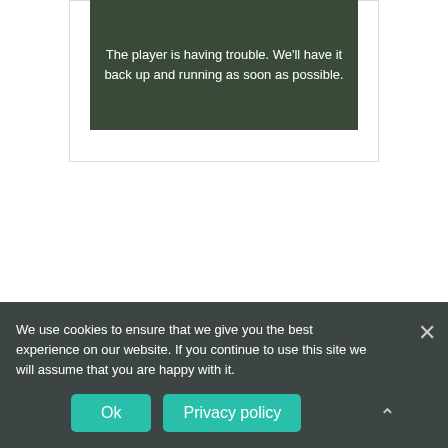[Figure (screenshot): Video player error state showing a dark background with white text: 'The player is having trouble. We'll have it back up and running as soon as possible.' Inside a bordered container.]
We use cookies to ensure that we give you the best experience on our website. If you continue to use this site we will assume that you are happy with it.